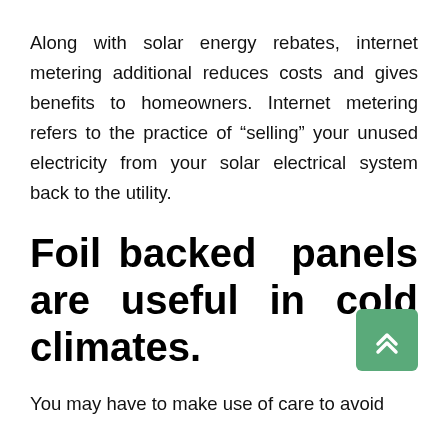Along with solar energy rebates, internet metering additional reduces costs and gives benefits to homeowners. Internet metering refers to the practice of “selling” your unused electricity from your solar electrical system back to the utility.
Foil backed panels are useful in cold climates.
You may have to make use of care to avoid